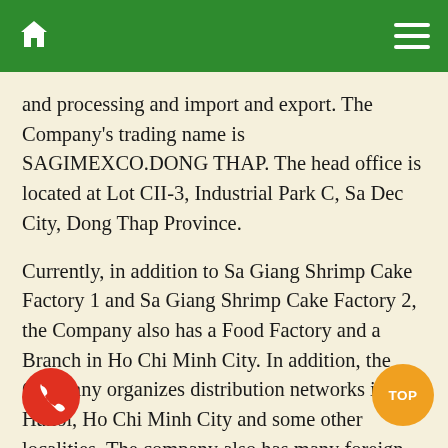Navigation bar with home icon and menu icon
and processing and import and export. The Company's trading name is SAGIMEXCO.DONG THAP. The head office is located at Lot CII-3, Industrial Park C, Sa Dec City, Dong Thap Province.
Currently, in addition to Sa Giang Shrimp Cake Factory 1 and Sa Giang Shrimp Cake Factory 2, the Company also has a Food Factory and a Branch in Ho Chi Minh City. In addition, the Company organizes distribution networks in Hanoi, Ho Chi Minh City and some other localities. The company also has many foreign customers in Europe, and some countries in Asia, America and Africa. Through a long history of operation and development, Sa Giang has become one of the units affirming the prestige of its products and brands in the domestic and world markets; Sa Giang was honored to receive such noble titles and awards